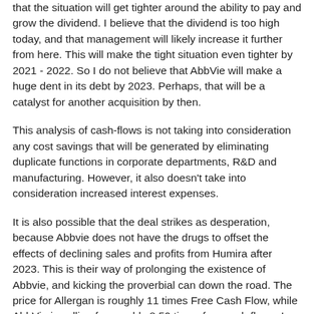that the situation will get tighter around the ability to pay and grow the dividend. I believe that the dividend is too high today, and that management will likely increase it further from here. This will make the tight situation even tighter by 2021 - 2022. So I do not believe that AbbVie will make a huge dent in its debt by 2023. Perhaps, that will be a catalyst for another acquisition by then.
This analysis of cash-flows is not taking into consideration any cost savings that will be generated by eliminating duplicate functions in corporate departments, R&D and manufacturing. However, it also doesn't take into consideration increased interest expenses.
It is also possible that the deal strikes as desperation, because Abbvie does not have the drugs to offset the effects of declining sales and profits from Humira after 2023. This is their way of prolonging the existence of Abbvie, and kicking the proverbial can down the road. The price for Allergan is roughly 11 times Free Cash Flow, while AbbVie is selling for roughly 8.50 times free cash flows. Is AbbVie overpaying for Allergan?